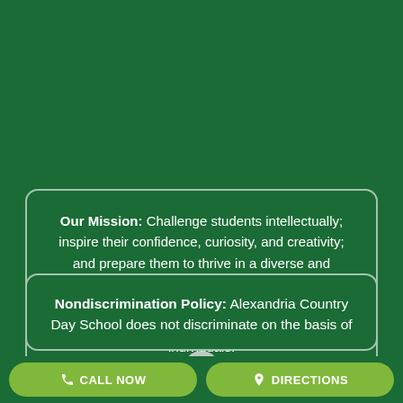Our Mission: Challenge students intellectually; inspire their confidence, curiosity, and creativity; and prepare them to thrive in a diverse and complex world by ensuring that they are independent learners, effective communicators, community minded citizens, and balanced individuals.
Nondiscrimination Policy: Alexandria Country Day School does not discriminate on the basis of
CALL NOW   DIRECTIONS